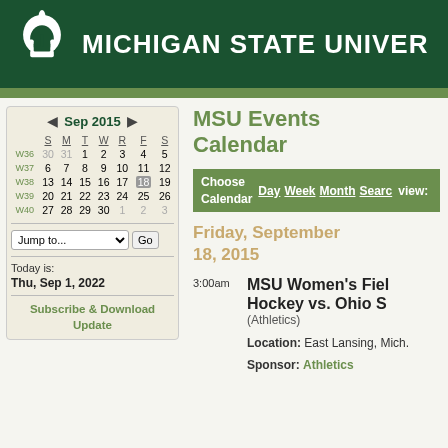MICHIGAN STATE UNIVERSITY
MSU Events Calendar
Choose Calendar view: Day Week Month Search
Friday, September 18, 2015
|  | S | M | T | W | R | F | S |
| --- | --- | --- | --- | --- | --- | --- | --- |
| W36 | 30 | 31 | 1 | 2 | 3 | 4 | 5 |
| W37 | 6 | 7 | 8 | 9 | 10 | 11 | 12 |
| W38 | 13 | 14 | 15 | 16 | 17 | 18 | 19 |
| W39 | 20 | 21 | 22 | 23 | 24 | 25 | 26 |
| W40 | 27 | 28 | 29 | 30 | 1 | 2 | 3 |
Sep 2015
Jump to...
Today is: Thu, Sep 1, 2022
Subscribe & Download Update
3:00am  MSU Women's Field Hockey vs. Ohio S (Athletics)
Location: East Lansing, Mich.
Sponsor: Athletics